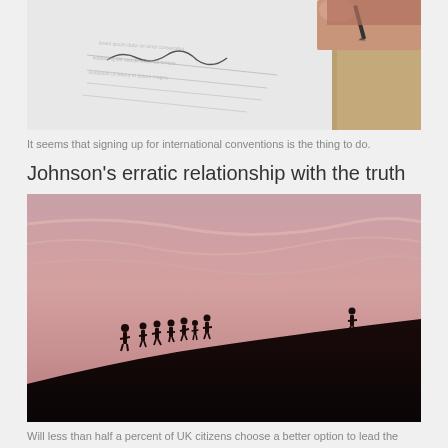[Figure (photo): Close-up of a hand holding a pen signing a document on a wooden desk]
It seems that signing up for international conventions is the thing to do.
Johnson's erratic relationship with the truth
[Figure (photo): Silhouettes of people walking along a ridge against a pink and purple sky at sunset, with one person separated from the group]
Will less than half a percent of UK citizens choose a better option to lead the nation than a liar?